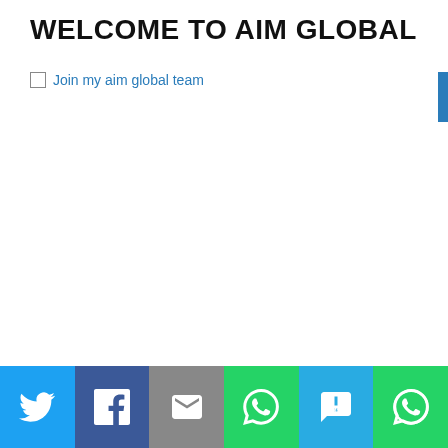WELCOME TO AIM GLOBAL
[Figure (other): Broken image placeholder with link text 'Join my aim global team']
[Figure (other): Social share bar with Twitter, Facebook, Email, WhatsApp, SMS, and WhatsApp icons]